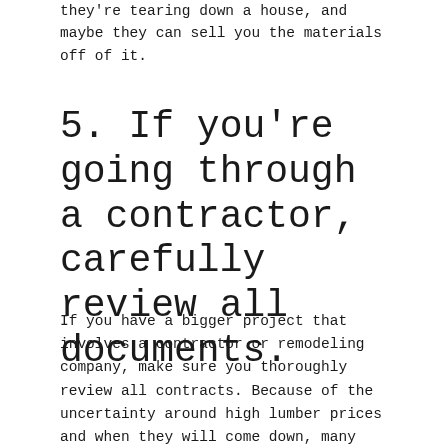they're tearing down a house, and maybe they can sell you the materials off of it.
5. If you're going through a contractor, carefully review all documents.
If you have a bigger project that involves a contractor or remodeling company, make sure you thoroughly review all contracts. Because of the uncertainty around high lumber prices and when they will come down, many contracts are adding price escalation clauses. This means that the final cost of your project is subject to change if there are fluctuations in the price of materials during the project,